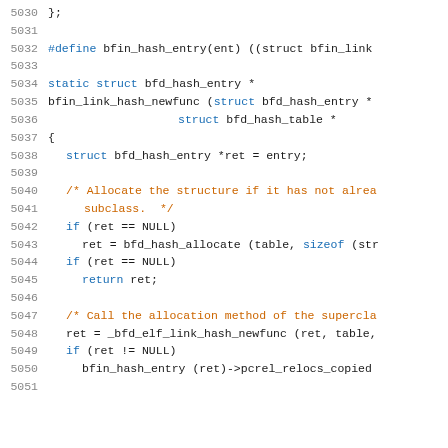Source code listing lines 5030-5051, C/C++ code for bfin link hash functions